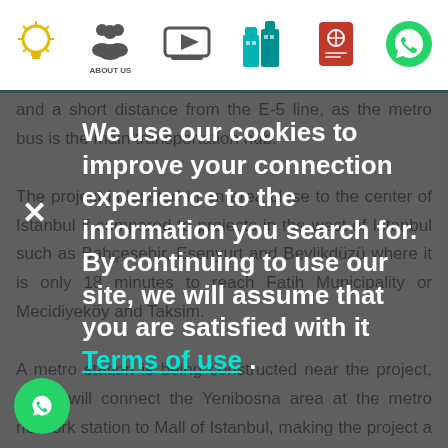Navigation bar with icons: light bulb, About Us, video play, buildings, passport, WhatsApp
and a short distance from the E-5 line, as the metro bus is the main transportation hub. The project is located in an area close to the center of Istanbul if compared to projects in the west of Istanbul such as Bahçeşehir, Esenyurt and Beylikdüzü where it is only 18 minutes to reach Fatih Municipality or Mecidiyeköy and Taksim. A metro station is being constructed near the project, which will connect the Yenibosna area at the metro network station to Mall of Istanbul, making the project a real investment opportunity.
We use our cookies to improve your connection experience to the information you search for. By continuing to use our site, we will assume that you are satisfied with it Terms of use .